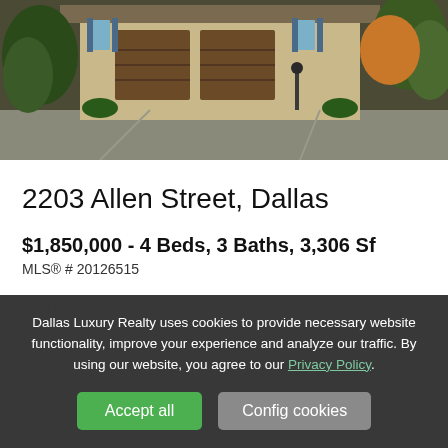[Figure (photo): Exterior photo of a residential property at 2203 Allen Street, Dallas, showing a building with wooden garage doors, trees, and a street view at dusk.]
2203 Allen Street, Dallas
$1,850,000 - 4 Beds, 3 Baths, 3,306 Sf
MLS® # 20126515
Dallas Luxury Realty uses cookies to provide necessary website functionality, improve your experience and analyze our traffic. By using our website, you agree to our Privacy Policy.
Accept all
Config cookies